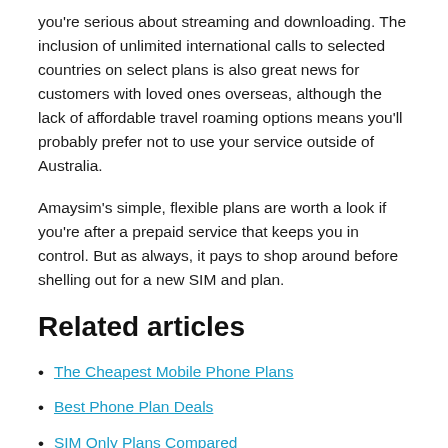you're serious about streaming and downloading. The inclusion of unlimited international calls to selected countries on select plans is also great news for customers with loved ones overseas, although the lack of affordable travel roaming options means you'll probably prefer not to use your service outside of Australia.
Amaysim's simple, flexible plans are worth a look if you're after a prepaid service that keeps you in control. But as always, it pays to shop around before shelling out for a new SIM and plan.
Related articles
The Cheapest Mobile Phone Plans
Best Phone Plan Deals
SIM Only Plans Compared
Excess Data Charges Explained